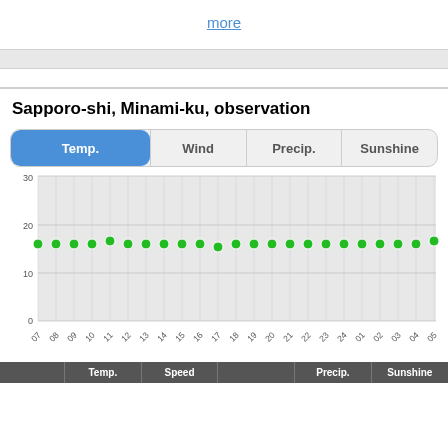more
Sapporo-shi, Minami-ku, observation
[Figure (line-chart): Temperature observation]
|  | Temp. | Speed | Dir. | Precip. | Sunshine |
| --- | --- | --- | --- | --- | --- |